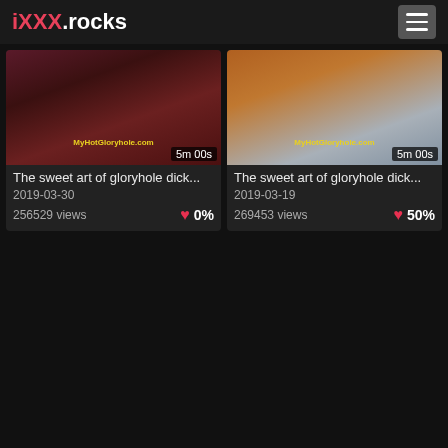iXXX.rocks
[Figure (screenshot): Video thumbnail left: dark reddish scene with watermark MyHotGloryhole.com, duration 5m 00s]
The sweet art of gloryhole dick...
2019-03-30
256529 views
0%
[Figure (screenshot): Video thumbnail right: beige/blue scene with watermark MyHotGloryhole.com, duration 5m 00s]
The sweet art of gloryhole dick...
2019-03-19
269453 views
50%